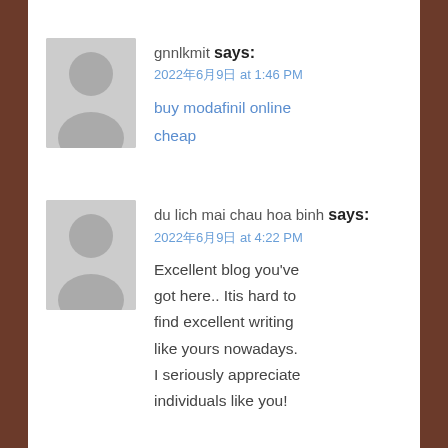gnnlkmit says: 2022年6月9日 at 1:46 PM
buy modafinil online cheap
du lich mai chau hoa binh says: 2022年6月9日 at 4:22 PM
Excellent blog you've got here.. Itis hard to find excellent writing like yours nowadays. I seriously appreciate individuals like you!